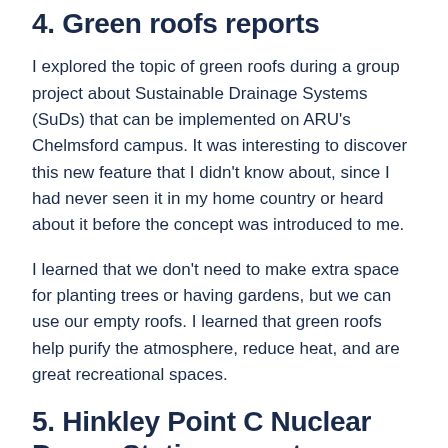4. Green roofs reports
I explored the topic of green roofs during a group project about Sustainable Drainage Systems (SuDs) that can be implemented on ARU's Chelmsford campus. It was interesting to discover this new feature that I didn't know about, since I had never seen it in my home country or heard about it before the concept was introduced to me.
I learned that we don't need to make extra space for planting trees or having gardens, but we can use our empty roofs. I learned that green roofs help purify the atmosphere, reduce heat, and are great recreational spaces.
5. Hinkley Point C Nuclear Power Station reports